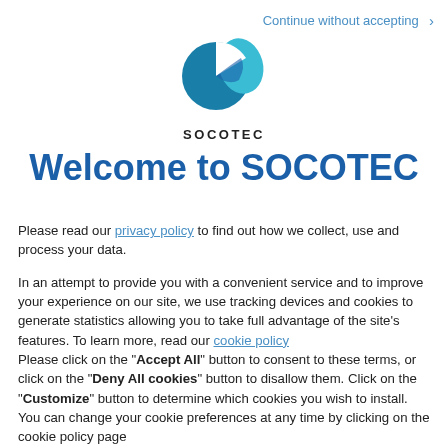Continue without accepting >
[Figure (logo): SOCOTEC logo: two overlapping circles forming a stylized 'C' shape in teal/blue tones, with the text SOCOTEC below in bold black letters]
Welcome to SOCOTEC
Please read our privacy policy to find out how we collect, use and process your data.

In an attempt to provide you with a convenient service and to improve your experience on our site, we use tracking devices and cookies to generate statistics allowing you to take full advantage of the site's features. To learn more, read our cookie policy
Please click on the "Accept All" button to consent to these terms, or click on the "Deny All cookies" button to disallow them. Click on the "Customize" button to determine which cookies you wish to install. You can change your cookie preferences at any time by clicking on the cookie policy page